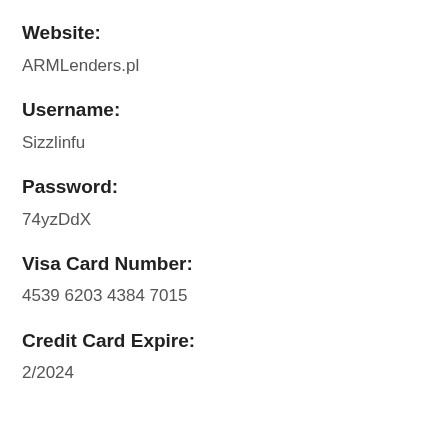Website:
ARMLenders.pl
Username:
Sizzlinfu
Password:
74yzDdX
Visa Card Number:
4539 6203 4384 7015
Credit Card Expire:
2/2024